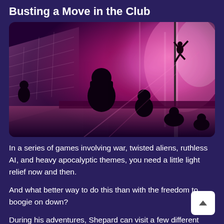Busting a Move in the Club
[Figure (photo): Nightclub scene with silhouettes of people watching a performer on a lit stage with pink and purple lighting. A dancer silhouette is visible on a pole/pillar on the right side against large illuminated screens.]
In a series of games involving war, twisted aliens, ruthless AI, and heavy apocalyptic themes, you need a little light relief now and then.
And what better way to do this than with the freedom to boogie on down?
During his adventures, Shepard can visit a few different nightclubs and enjoy a dance, usually surrounded by hot aliens of various kinds. Thoug